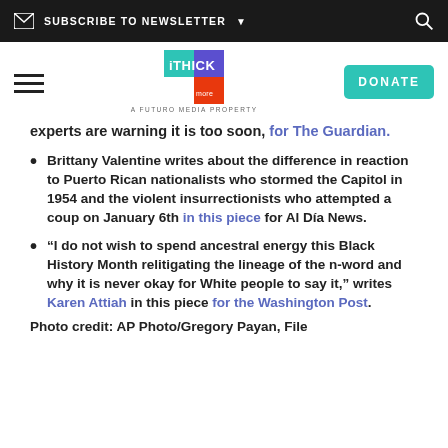SUBSCRIBE TO NEWSLETTER
[Figure (logo): THICK logo - A Futuro Media Property with hamburger menu and DONATE button]
experts are warning it is too soon, for The Guardian.
Brittany Valentine writes about the difference in reaction to Puerto Rican nationalists who stormed the Capitol in 1954 and the violent insurrectionists who attempted a coup on January 6th in this piece for Al Día News.
“I do not wish to spend ancestral energy this Black History Month relitigating the lineage of the n-word and why it is never okay for White people to say it,” writes Karen Attiah in this piece for the Washington Post.
Photo credit: AP Photo/Gregory Payan, File